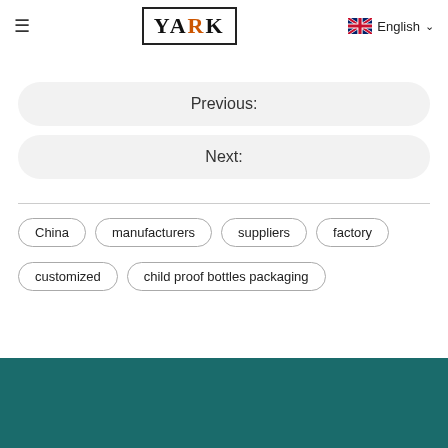≡  YARK  English
Previous:
Next:
China
manufacturers
suppliers
factory
customized
child proof bottles packaging